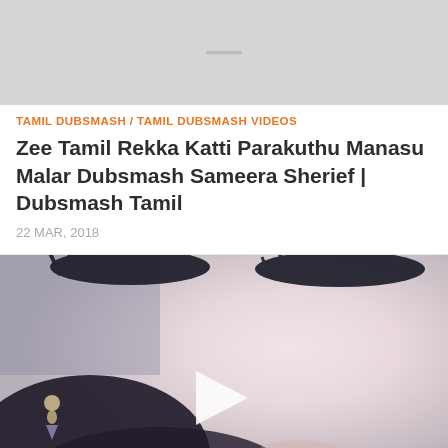[Figure (photo): Cropped top portion of a video thumbnail, gray background with a short horizontal dash/line in center]
TAMIL DUBSMASH / TAMIL DUBSMASH VIDEOS
Zee Tamil Rekka Katti Parakuthu Manasu Malar Dubsmash Sameera Sherief | Dubsmash Tamil
22 MAR, 2018
[Figure (photo): Close-up photo of a young woman with dramatic eye lashes, dangling crystal earring, dark hair, soft skin; a white play button triangle overlay is centered on the image]
DUBSMASH TAMIL VIDEOS / TAMIL DUBSMASH / TAMIL DUBSMASH VIDEOS